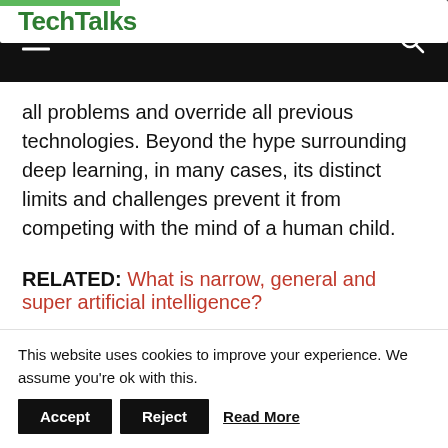TechTalks
all problems and override all previous technologies. Beyond the hype surrounding deep learning, in many cases, its distinct limits and challenges prevent it from competing with the mind of a human child.
RELATED: What is narrow, general and super artificial intelligence?
Here’s an example. I played Mario Bros on the legendary NES console for the first time when I
This website uses cookies to improve your experience. We assume you're ok with this. Accept Reject Read More